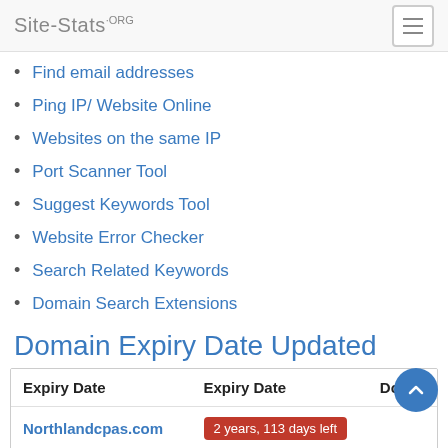Site-Stats.ORG
Find email addresses
Ping IP/ Website Online
Websites on the same IP
Port Scanner Tool
Suggest Keywords Tool
Website Error Checker
Search Related Keywords
Domain Search Extensions
Domain Expiry Date Updated
| Expiry Date | Expiry Date | Doma… |
| --- | --- | --- |
| Northlandcpas.com | 2 years, 113 days left |  |
| Myturningstone.com | 109 days left | Netwo… |